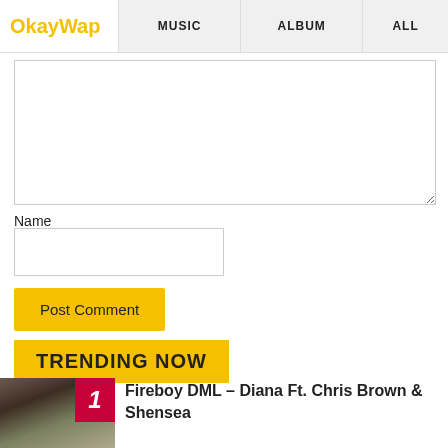OkayWap | MUSIC | ALBUM | ALL
Name
Post Comment
TRENDING NOW
Fireboy DML – Diana Ft. Chris Brown & Shensea